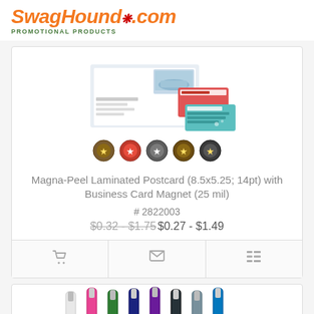[Figure (logo): SwagHound.com Promotional Products logo — orange italic text with red paw print dot, green subtitle]
[Figure (photo): Magna-Peel Laminated Postcard product image showing postcard and business card magnet samples]
[Figure (photo): Row of 5 circular award/seal thumbnail icons]
Magna-Peel Laminated Postcard (8.5x5.25; 14pt) with Business Card Magnet (25 mil)
# 2822003
$0.32 - $1.75$0.27 - $1.49
[Figure (photo): Bottom of page showing tops of colorful pens (white, pink, green, and various darker colors)]